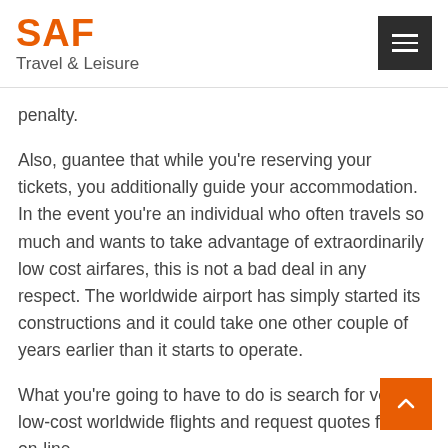SAF Travel & Leisure
penalty.
Also, guantee that while you're reserving your tickets, you additionally guide your accommodation. In the event you're an individual who often travels so much and wants to take advantage of extraordinarily low cost airfares, this is not a bad deal in any respect. The worldwide airport has simply started its constructions and it could take one other couple of years earlier than it starts to operate.
What you're going to have to do is search for very low-cost worldwide flights and request quotes from on-line …